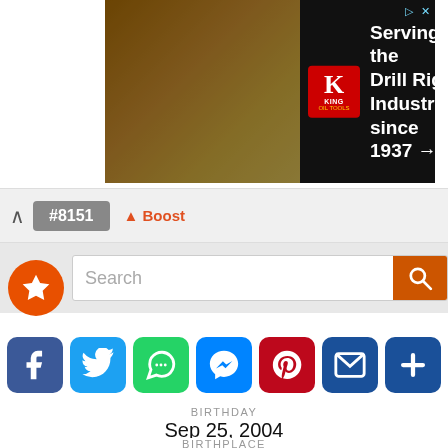[Figure (photo): Advertisement banner for King Oil Tools: 'Serving the Drill Rig Industry since 1937 →', black background with oil rig silhouette at sunset and red King logo]
#8151
▲ Boost
[Figure (screenshot): Website search bar with orange star logo on left and orange search button on right]
[Figure (infographic): Social sharing icons: Facebook, Twitter, WhatsApp, Messenger, Pinterest, Email, More]
BIRTHDAY
Sep 25, 2004
BIRTHPLACE
Texas, United States of America
Jada Marie is a famous teen lifestyle YouTuber. Jada Marie has built an audience of more than 309k subscribers on her self-titled channel...